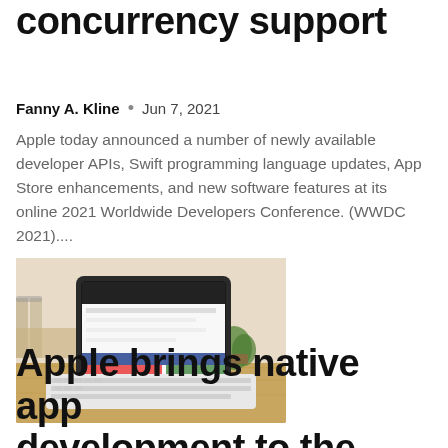concurrency support
Fanny A. Kline • Jun 7, 2021
Apple today announced a number of newly available developer APIs, Swift programming language updates, App Store enhancements, and new software features at its online 2021 Worldwide Developers Conference. (WWDC 2021)....
[Figure (photo): An iPad with a keyboard case open on a wooden desk in a cafe or kitchen setting, with plants and bar stools in the background. The iPad screen shows a website or app interface.]
Apple brings native app development to the iPad, but it's not quite Xcode...